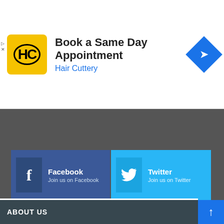[Figure (infographic): Hair Cuttery ad banner with logo, text 'Book a Same Day Appointment', brand name 'Hair Cuttery', and navigation icon]
[Figure (infographic): Social media links grid: Facebook, Twitter, Youtube, Instagram, RSS with icons and join text]
ABOUT US